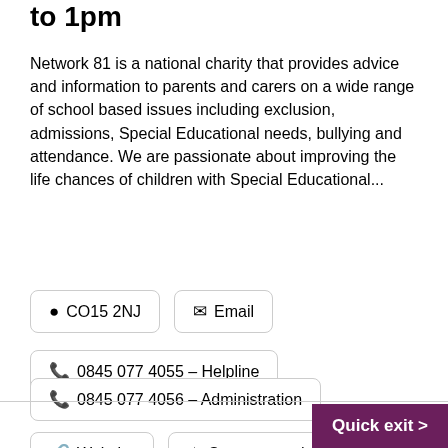to 1pm
Network 81 is a national charity that provides advice and information to parents and carers on a wide range of school based issues including exclusion, admissions, Special Educational needs, bullying and attendance. We are passionate about improving the life chances of children with Special Educational...
CO15 2NJ
Email
0845 077 4055 - Helpline
0845 077 4056 - Administration
Website
Save to my shortlist
Quick exit >